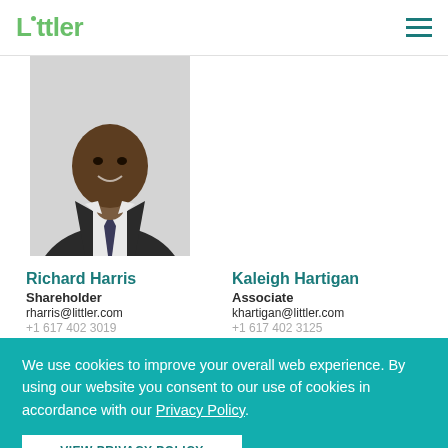Littler
[Figure (photo): Professional headshot of Richard Harris in a dark suit]
Richard Harris
Shareholder
rharris@littler.com
+1 617 402 3019
Kaleigh Hartigan
Associate
khartigan@littler.com
+1 617 402 3125
We use cookies to improve your overall web experience. By using our website you consent to our use of cookies in accordance with our Privacy Policy.
VIEW PRIVACY POLICY
I AGREE